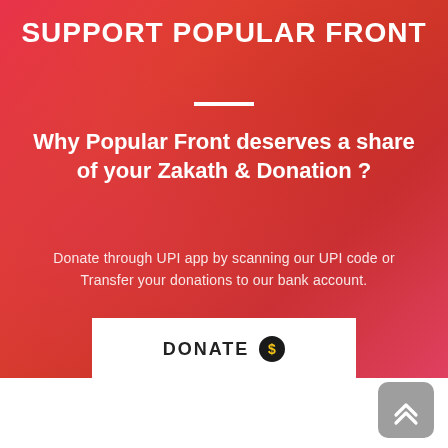SUPPORT POPULAR FRONT
Why Popular Front deserves a share of your Zakath & Donation ?
Donate through UPI app by scanning our UPI code or Transfer your donations to our bank account.
[Figure (other): DONATE button with dollar coin icon]